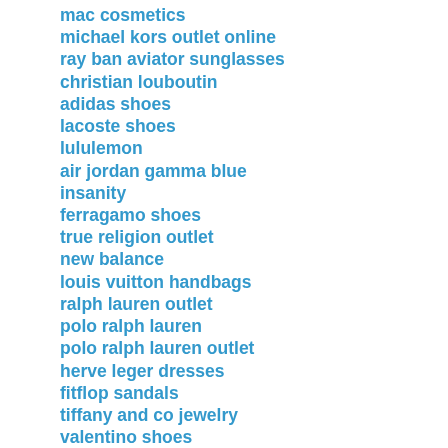mac cosmetics
michael kors outlet online
ray ban aviator sunglasses
christian louboutin
adidas shoes
lacoste shoes
lululemon
air jordan gamma blue
insanity
ferragamo shoes
true religion outlet
new balance
louis vuitton handbags
ralph lauren outlet
polo ralph lauren
polo ralph lauren outlet
herve leger dresses
fitflop sandals
tiffany and co jewelry
valentino shoes
kobe 9 shoes
celine outlet